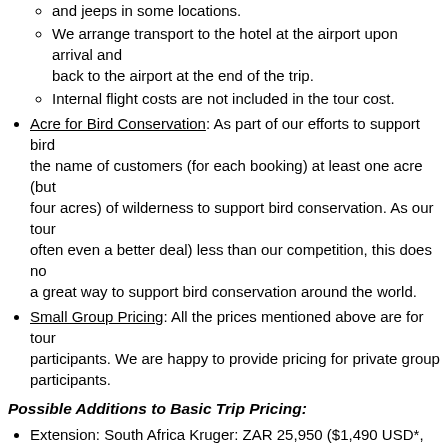Local ground transport is included. This includes large 4x4s and jeeps in some locations.
We arrange transport to the hotel at the airport upon arrival and back to the airport at the end of the trip.
Internal flight costs are not included in the tour cost.
Acre for Bird Conservation: As part of our efforts to support bird conservation, we purchase in the name of customers (for each booking) at least one acre (but typically two to four acres) of wilderness to support bird conservation. As our tours are priced similarly (often even a better deal) less than our competition, this does not cost you extra. It is a great way to support bird conservation around the world.
Small Group Pricing: All the prices mentioned above are for tours with 4 to 8 participants. We are happy to provide pricing for private groups with fewer than 4 participants.
Possible Additions to Basic Trip Pricing:
Extension: South Africa Kruger: ZAR 25,950 ($1,490 USD*, or £1,1
*Pricing Notes and More Details
Trip Priced Fixed in ZAR: Trip price is fixed in South African Rand. USD, GBP and other currencies should be considered estimated from ZAR and will be based upon exchange rates charged by our banks about 1 month before the trip.
Please note that we always guarantee the best fare among all participating...